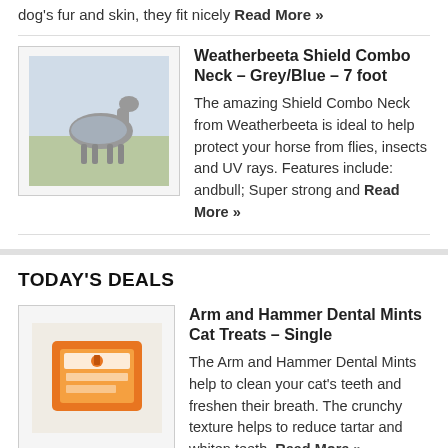dog's fur and skin, they fit nicely Read More »
[Figure (photo): Horse in a field wearing a protective sheet]
Weatherbeeta Shield Combo Neck – Grey/Blue – 7 foot
The amazing Shield Combo Neck from Weatherbeeta is ideal to help protect your horse from flies, insects and UV rays. Features include: andbull; Super strong and Read More »
TODAY'S DEALS
[Figure (photo): Arm and Hammer Dental Mints Cat Treats box]
Arm and Hammer Dental Mints Cat Treats – Single
The Arm and Hammer Dental Mints help to clean your cat's teeth and freshen their breath. The crunchy texture helps to reduce tartar and whiten teeth, Read More »
[Figure (photo): HyCOMFORT Waffle Girth Elasticated One End – Black product image]
HyCOMFORT Waffle Girth Elasticated One End – Black – 137cm/54 inch
Super strong yet soft material textured to allow airflow. Shaped for extra comfort and moves comfortably without